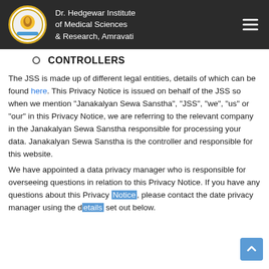Dr. Hedgewar Institute of Medical Sciences & Research, Amravati
CONTROLLERS
The JSS is made up of different legal entities, details of which can be found here. This Privacy Notice is issued on behalf of the JSS so when we mention “Janakalyan Sewa Sanstha”, “JSS”, “we”, “us” or “our” in this Privacy Notice, we are referring to the relevant company in the Janakalyan Sewa Sanstha responsible for processing your data. Janakalyan Sewa Sanstha is the controller and responsible for this website.
We have appointed a data privacy manager who is responsible for overseeing questions in relation to this Privacy Notice. If you have any questions about this Privacy Notice, please contact the date privacy manager using the details set out below.